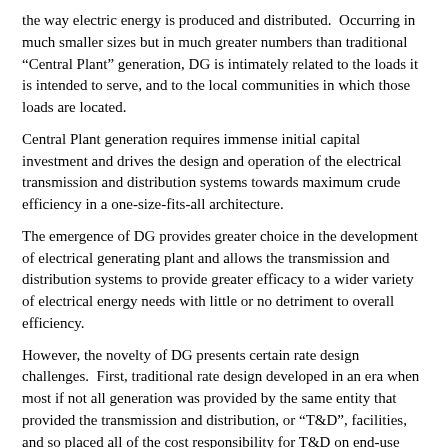the way electric energy is produced and distributed.  Occurring in much smaller sizes but in much greater numbers than traditional “Central Plant” generation, DG is intimately related to the loads it is intended to serve, and to the local communities in which those loads are located.
Central Plant generation requires immense initial capital investment and drives the design and operation of the electrical transmission and distribution systems towards maximum crude efficiency in a one-size-fits-all architecture.
The emergence of DG provides greater choice in the development of electrical generating plant and allows the transmission and distribution systems to provide greater efficacy to a wider variety of electrical energy needs with little or no detriment to overall efficiency.
However, the novelty of DG presents certain rate design challenges.  First, traditional rate design developed in an era when most if not all generation was provided by the same entity that provided the transmission and distribution, or “T&D”, facilities, and so placed all of the cost responsibility for T&D on end-use customers, bundled together with generation costs.  Initial steps of electric service industry restructuring merely unbundled generating costs from T&D costs.
Second, when there was no relationship between the configuration of generation and load, the charges that established the cost